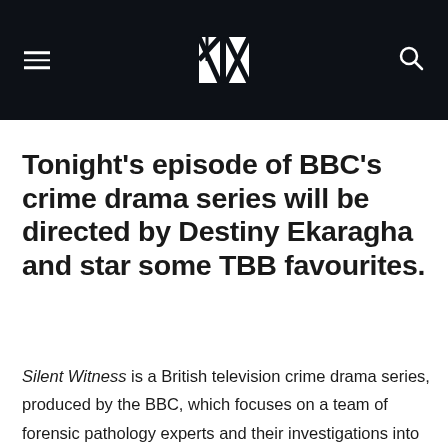BBC news website header with hamburger menu, BBC logo, and search icon
Tonight's episode of BBC's crime drama series will be directed by Destiny Ekaragha and star some TBB favourites.
Silent Witness is a British television crime drama series, produced by the BBC, which focuses on a team of forensic pathology experts and their investigations into various crimes.